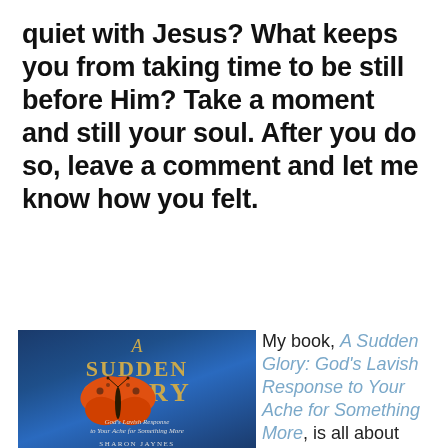quiet with Jesus? What keeps you from taking time to be still before Him? Take a moment and still your soul. After you do so, leave a comment and let me know how you felt.
[Figure (photo): Book cover of 'A Sudden Glory: God's Lavish Response to Your Ache for Something More' by Sharon Jaynes, featuring a butterfly on a blue bokeh background with gold title text]
My book, A Sudden Glory: God's Lavish Response to Your Ache for Something More, is all about raising your expectations to experience the full, abundant life